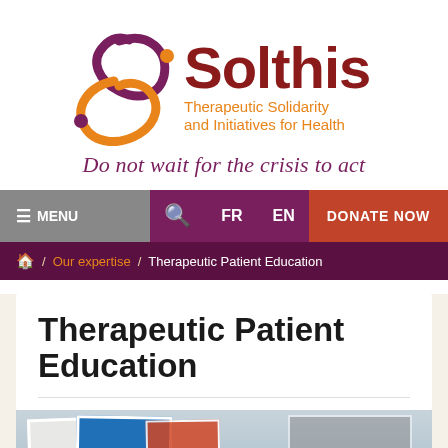[Figure (logo): Solthis logo with stylized S graphic in purple and orange, text 'Solthis' in dark red/crimson, subtitle 'Therapeutic Solidarity and Initiatives for Health' in orange]
Do not wait for the crisis to act
≡ MENU  🔍  FR  EN  DONATE NOW
🏠 / Our expertise / Therapeutic Patient Education
Therapeutic Patient Education
[Figure (photo): Photo of educational materials or classroom setting, partially visible at bottom of page]